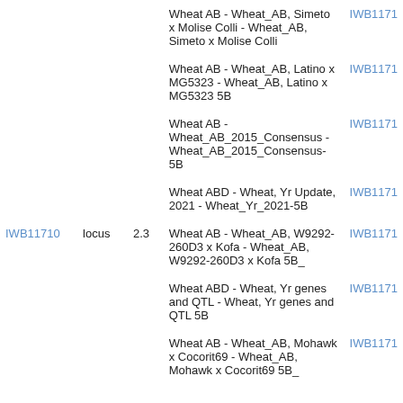| Marker | Type | Value | Map | ID |
| --- | --- | --- | --- | --- |
|  |  |  | Wheat AB - Wheat_AB, Simeto x Molise Colli - Wheat_AB, Simeto x Molise Colli | IWB1171 |
|  |  |  | Wheat AB - Wheat_AB, Latino x MG5323 - Wheat_AB, Latino x MG5323 5B | IWB1171 |
|  |  |  | Wheat AB - Wheat_AB_2015_Consensus - Wheat_AB_2015_Consensus-5B | IWB1171 |
|  |  |  | Wheat ABD - Wheat, Yr Update, 2021 - Wheat_Yr_2021-5B | IWB1171 |
| IWB11710 | locus | 2.3 | Wheat AB - Wheat_AB, W9292-260D3 x Kofa - Wheat_AB, W9292-260D3 x Kofa 5B_ | IWB1171 |
|  |  |  | Wheat ABD - Wheat, Yr genes and QTL - Wheat, Yr genes and QTL 5B | IWB1171 |
|  |  |  | Wheat AB - Wheat_AB, Mohawk x Cocorit69 - Wheat_AB, Mohawk x Cocorit69 5B_ | IWB1171 |